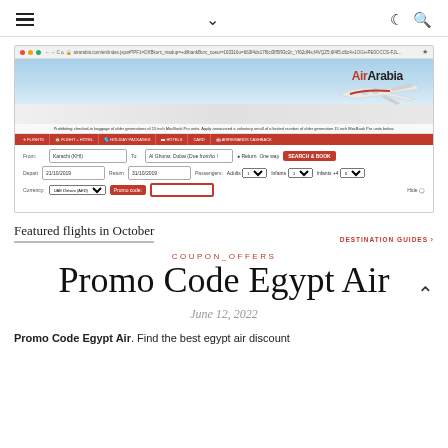Navigation bar with hamburger menu, chevron, moon icon, and search icon
[Figure (screenshot): Screenshot of Air Arabia website showing flight booking form with promo code field highlighted, an airplane image with Air Arabia logo, and navigation tabs for Flights, Flight+Hotel, Holiday Packages, Hotels, Card, AirRewards Cashback. Form shows From: Karachi (KHI), To: Al Ghurar, Dubai fields, Depart/Return dates, Passengers, Currency, and promo code input field.]
Featured flights in October
DESTINATION GUIDES >
COUPON_OFFERS
Promo Code Egypt Air
June 12, 2022
Promo Code Egypt Air. Find the best egypt air discount